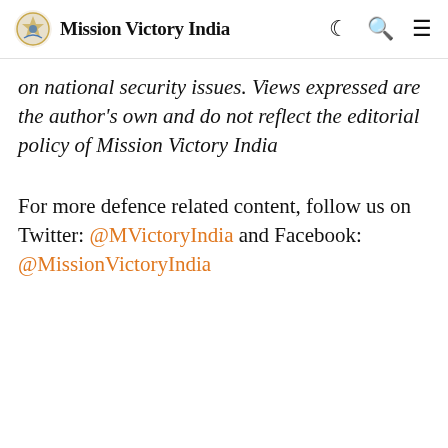Mission Victory India
on national security issues. Views expressed are the author's own and do not reflect the editorial policy of Mission Victory India
For more defence related content, follow us on Twitter: @MVictoryIndia and Facebook: @MissionVictoryIndia